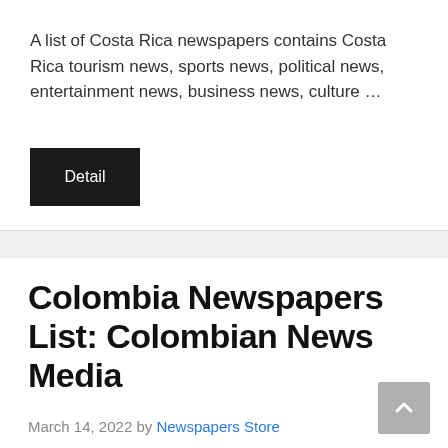A list of Costa Rica newspapers contains Costa Rica tourism news, sports news, political news, entertainment news, business news, culture …
[Figure (other): Dark button labeled 'Detail']
Colombia Newspapers List: Colombian News Media
March 14, 2022 by Newspapers Store